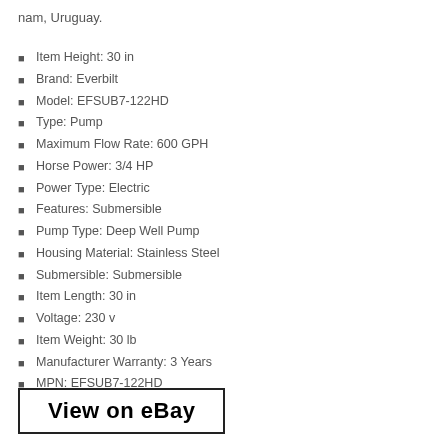nam, Uruguay.
Item Height: 30 in
Brand: Everbilt
Model: EFSUB7-122HD
Type: Pump
Maximum Flow Rate: 600 GPH
Horse Power: 3/4 HP
Power Type: Electric
Features: Submersible
Pump Type: Deep Well Pump
Housing Material: Stainless Steel
Submersible: Submersible
Item Length: 30 in
Voltage: 230 v
Item Weight: 30 lb
Manufacturer Warranty: 3 Years
MPN: EFSUB7-122HD
View on eBay